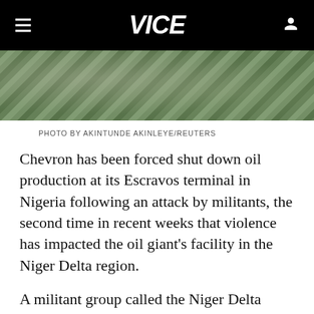VICE
[Figure (photo): Aerial or close-up photo of green vegetation and rocky terrain in the Niger Delta region of Nigeria]
PHOTO BY AKINTUNDE AKINLEYE/REUTERS
Chevron has been forced shut down oil production at its Escravos terminal in Nigeria following an attack by militants, the second time in recent weeks that violence has impacted the oil giant's facility in the Niger Delta region.
A militant group called the Niger Delta Avengers, which has told oil firms to leave the oil-rich delta before the end of May, said late